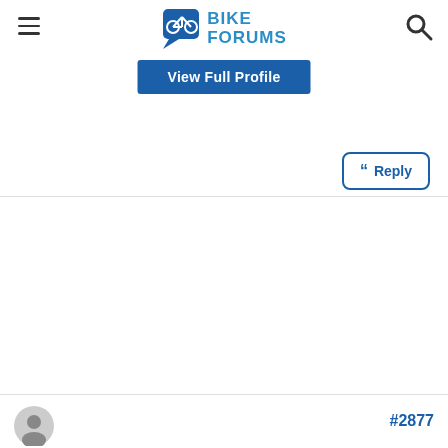Bike Forums
View Full Profile
Reply
#2877